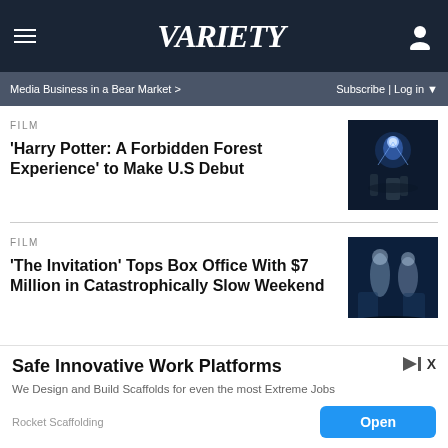VARIETY
Media Business in a Bear Market >   Subscribe | Log in
FILM
'Harry Potter: A Forbidden Forest Experience' to Make U.S Debut
[Figure (photo): Dark forest scene with glowing figures, Harry Potter themed]
FILM
'The Invitation' Tops Box Office With $7 Million in Catastrophically Slow Weekend
[Figure (photo): Dark blue toned image of ghostly figures from The Invitation]
FILM
Reflecting on Pee-wee Herman's Wild Journey From Carnegie Hall to Netflix on
[Figure (photo): Black and white photo related to Pee-wee Herman story]
Safe Innovative Work Platforms
We Design and Build Scaffolds for even the most Extreme Jobs
Rocket Scaffolding  Open